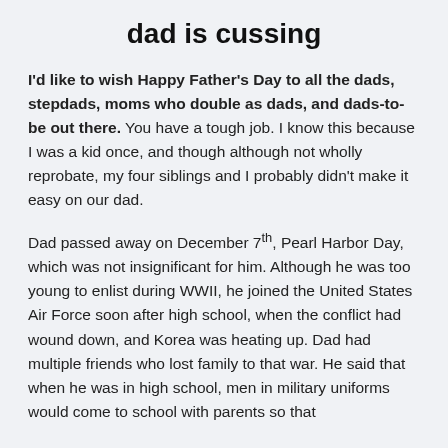dad is cussing
I'd like to wish Happy Father's Day to all the dads, stepdads, moms who double as dads, and dads-to-be out there. You have a tough job. I know this because I was a kid once, and though although not wholly reprobate, my four siblings and I probably didn't make it easy on our dad.
Dad passed away on December 7th, Pearl Harbor Day, which was not insignificant for him. Although he was too young to enlist during WWII, he joined the United States Air Force soon after high school, when the conflict had wound down, and Korea was heating up. Dad had multiple friends who lost family to that war. He said that when he was in high school, men in military uniforms would come to school with parents so that